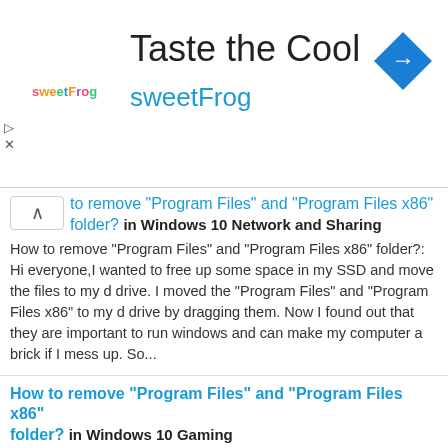[Figure (screenshot): sweetFrog advertisement banner with logo, 'Taste the Cool' title, 'sweetFrog' subtitle in blue, and a blue navigation diamond icon on the right]
to remove "Program Files" and "Program Files x86" folder? in Windows 10 Network and Sharing
How to remove "Program Files" and "Program Files x86" folder?: Hi everyone,I wanted to free up some space in my SSD and move the files to my d drive. I moved the "Program Files" and "Program Files x86" to my d drive by dragging them. Now I found out that they are important to run windows and can make my computer a brick if I mess up. So...
How to remove "Program Files" and "Program Files x86" folder? in Windows 10 Gaming
How to remove "Program Files" and "Program Files x86" folder?: Hi everyone,I wanted to free up some space in my SSD and move the files to my d drive. I moved the "Program Files" and "Program Files x86" to my d drive by dragging them. Now I found out that they are important to run windows and can make my computer a brick if I mess up. So...
Where "Program Files x86" Folder in Windows 10 Network